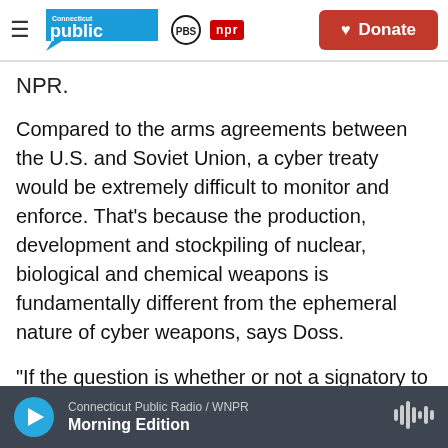Connecticut Public | PBS | NPR — Donate
NPR.
Compared to the arms agreements between the U.S. and Soviet Union, a cyber treaty would be extremely difficult to monitor and enforce. That's because the production, development and stockpiling of nuclear, biological and chemical weapons is fundamentally different from the ephemeral nature of cyber weapons, says Doss.
"If the question is whether or not a signatory to a nuclear arms control treaty is building
Connecticut Public Radio / WNPR — Morning Edition